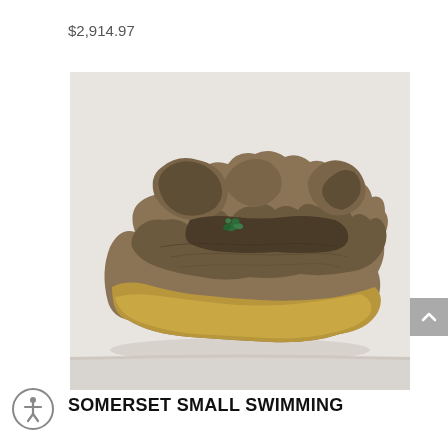$2,914.97
[Figure (photo): A decorative ceramic or resin rock formation/swimming pool feature sculpture, flat and elongated with rocky textures and small green foliage detail in the center, photographed on a white surface against a white background.]
SOMERSET SMALL SWIMMING